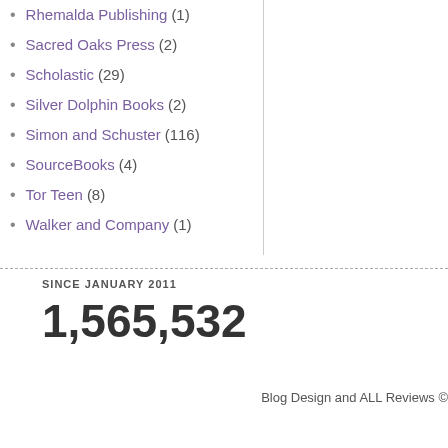Rhemalda Publishing (1)
Sacred Oaks Press (2)
Scholastic (29)
Silver Dolphin Books (2)
Simon and Schuster (116)
SourceBooks (4)
Tor Teen (8)
Walker and Company (1)
SINCE JANUARY 2011
1,565,532
Blog Design and ALL Reviews ©